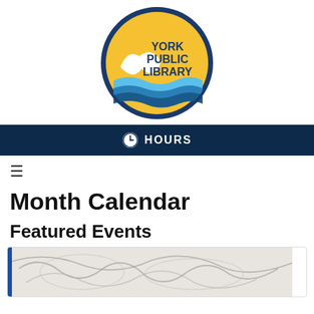[Figure (logo): York Public Library circular logo with gold/yellow background, ocean wave imagery, and dark blue text reading YORK PUBLIC LIBRARY]
HOURS
≡
Month Calendar
Featured Events
[Figure (photo): Partial view of an artistic pencil sketch showing abstract curved forms]